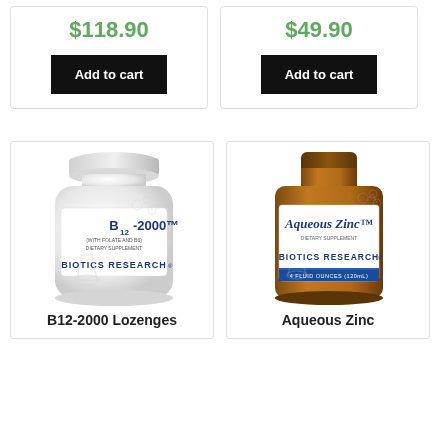$118.90
Add to cart
$49.90
Add to cart
[Figure (photo): White supplement bottle labeled B12-2000 by Biotics Research, dietary supplement with folate and B6]
B12-2000 Lozenges
[Figure (photo): Amber glass bottle labeled Aqueous Zinc dietary supplement by Biotics Research, 4 fluid ounces]
Aqueous Zinc